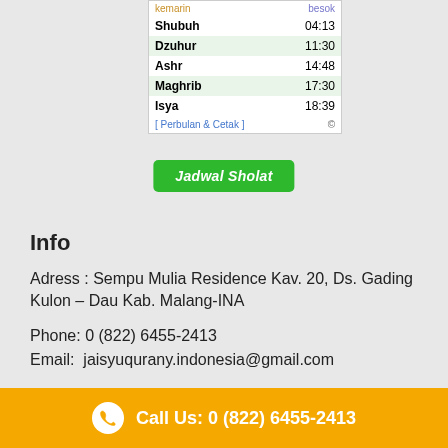| kemarin | besok |
| --- | --- |
| Shubuh | 04:13 |
| Dzuhur | 11:30 |
| Ashr | 14:48 |
| Maghrib | 17:30 |
| Isya | 18:39 |
[Figure (other): Green Jadwal Sholat button]
Info
Adress : Sempu Mulia Residence Kav. 20, Ds. Gading Kulon – Dau Kab. Malang-INA
Phone: 0 (822) 6455-2413
Email:  jaisyuqurany.indonesia@gmail.com
Call Us: 0 (822) 6455-2413